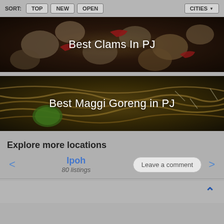SORT: TOP  NEW  OPEN   CITIES
[Figure (photo): Food photo of clams stir-fried with red chili peppers and vegetables, with text overlay 'Best Clams In PJ']
[Figure (photo): Food photo of Maggi Goreng noodles with lime garnish, with text overlay 'Best Maggi Goreng in PJ']
Explore more locations
Ipoh
80 listings
Leave a comment